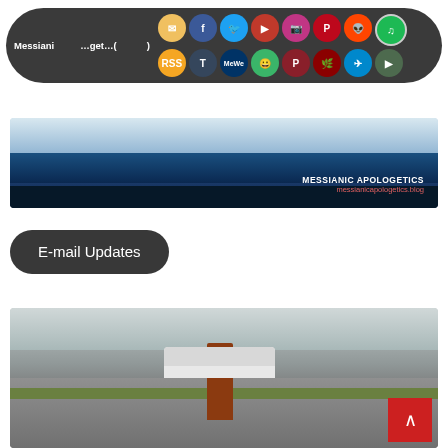[Figure (screenshot): Social media sharing bar with dark rounded rectangle background showing 'Messianic Apologetics (Patron)' text and icons for email, Facebook, Twitter, YouTube, Instagram, Pinterest, Reddit, Spotify, RSS, Tumblr, MeWe, Gab, Parler, Odysee, Telegram, and other social platforms]
[Figure (photo): Messianic Apologetics website banner with blue sky and ocean/landscape background. Text reads 'MESSIANIC APOLOGETICS' and 'messianicapologetics.blog']
E-mail Updates
[Figure (photo): Photo of a white rural mailbox on a brown post beside a road with gravel, grass, and cloudy sky in background. Red back-to-top button with up arrow in bottom right corner.]